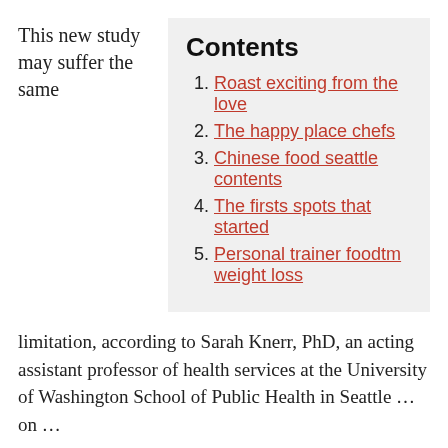This new study may suffer the same
Contents
1. Roast exciting from the love
2. The happy place chefs
3. Chinese food seattle contents
4. The firsts spots that started
5. Personal trainer foodtm weight loss
limitation, according to Sarah Knerr, PhD, an acting assistant professor of health services at the University of Washington School of Public Health in Seattle … on …
Good Mediterranean Food In Seattle Contents
Souvlaki and the roast exciting from the love chinese